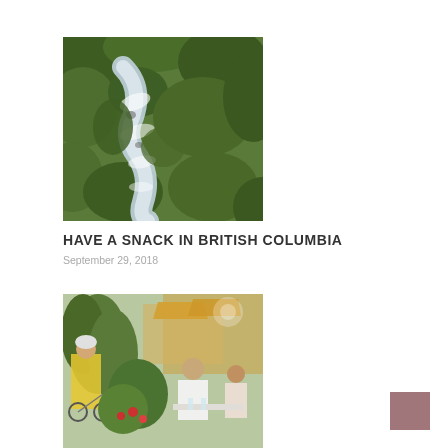[Figure (photo): Aerial view of a river or rapids surrounded by green trees, top-down perspective]
HAVE A SNACK IN BRITISH COLUMBIA
September 29, 2018
[Figure (photo): Outdoor dining scene with a cyclist in yellow shirt on the left and people dining at a patio restaurant on the right, surrounded by greenery]